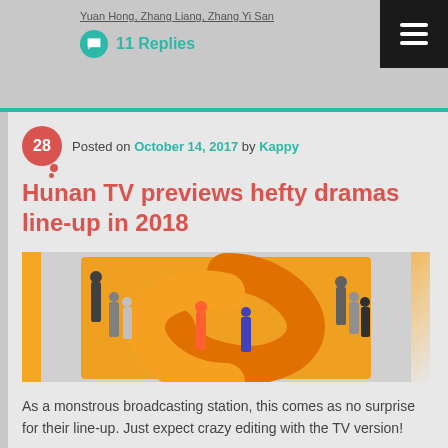Yuan Hong, Zhang Liang, Zhang Yi San
11 Replies
Posted on October 14, 2017 by Kappy
Hunan TV previews hefty dramas line-up in 2018
[Figure (photo): Hunan TV promotional image with orange logo/graphic and group of people]
As a monstrous broadcasting station, this comes as no surprise for their line-up. Just expect crazy editing with the TV version!
Continue reading →